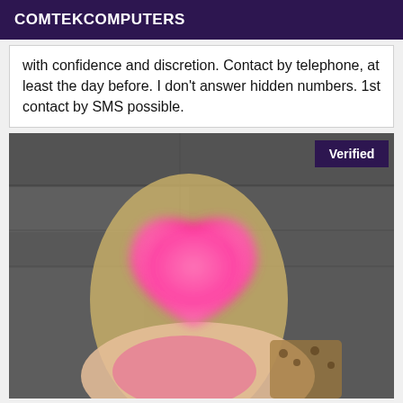COMTEKCOMPUTERS
with confidence and discretion. Contact by telephone, at least the day before. I don't answer hidden numbers. 1st contact by SMS possible.
[Figure (photo): Photo of a blonde woman with face blurred/covered by a pink heart shape. She is wearing a pink and leopard print bikini top and posing against a dark stone wall background. A 'Verified' badge appears in the top right corner of the image.]